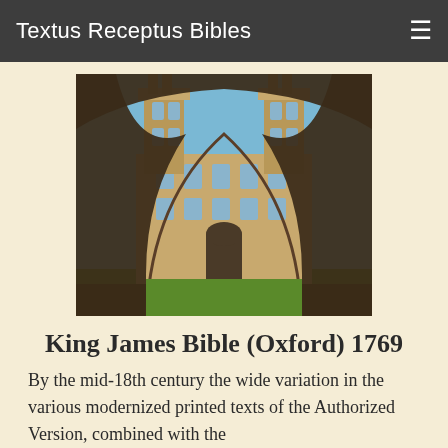Textus Receptus Bibles
[Figure (photo): View of All Souls College Oxford through a stone archway, showing Gothic twin towers and green lawn, photographed from within a dark arched entrance]
King James Bible (Oxford) 1769
By the mid-18th century the wide variation in the various modernized printed texts of the Authorized Version, combined with the